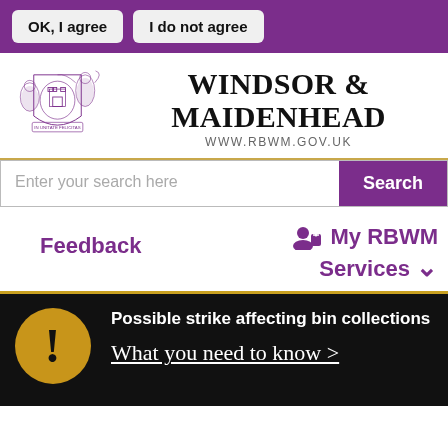OK, I agree
I do not agree
[Figure (logo): Royal Borough of Windsor and Maidenhead coat of arms crest]
WINDSOR & MAIDENHEAD
WWW.RBWM.GOV.UK
Enter your search here
Search
Feedback
My RBWM Services
Possible strike affecting bin collections
What you need to know >